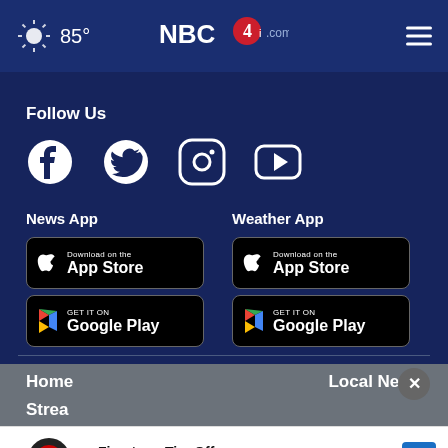85° NBC4i.com
Follow Us
[Figure (other): Social media icons: Facebook, Twitter, Instagram, YouTube]
News App
[Figure (other): Download on the App Store button]
[Figure (other): GET IT ON Google Play button]
Weather App
[Figure (other): Download on the App Store button]
[Figure (other): GET IT ON Google Play button]
Home
Local News
Strea
Firestone Tire Offer
Virginia Tire & Auto of Ashburn